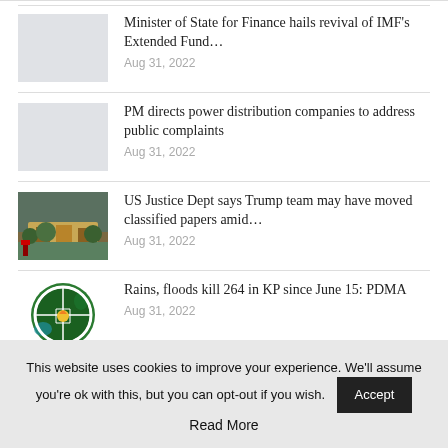Minister of State for Finance hails revival of IMF's Extended Fund… | Aug 31, 2022
PM directs power distribution companies to address public complaints | Aug 31, 2022
US Justice Dept says Trump team may have moved classified papers amid… | Aug 31, 2022
Rains, floods kill 264 in KP since June 15: PDMA | Aug 31, 2022
This website uses cookies to improve your experience. We'll assume you're ok with this, but you can opt-out if you wish.
Accept
Read More